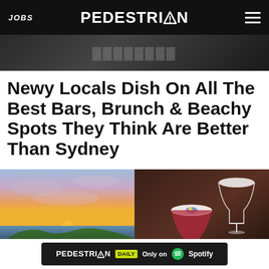JOBS | PEDESTRIAN | [menu]
[Figure (screenshot): Partially visible banner advertisement behind nav bar]
Newy Locals Dish On All The Best Bars, Brunch & Beachy Spots They Think Are Better Than Sydney
[Figure (photo): Left: coastal sunset photo with green headland and ocean. Right: cocktail drinks photo with garnished glasses on dark background.]
PEDESTRIAN DAILY — Only on Spotify